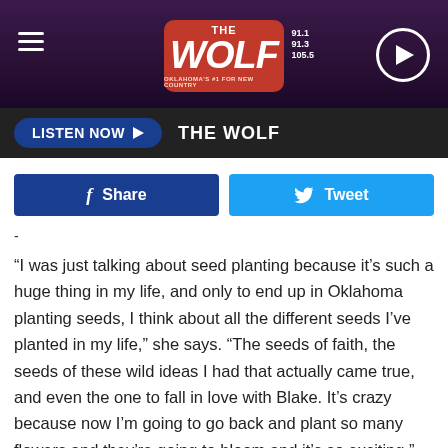THE WOLF
LISTEN NOW  THE WOLF
Share   Tweet
-
“I was just talking about seed planting because it’s such a huge thing in my life, and only to end up in Oklahoma planting seeds, I think about all the different seeds I’ve planted in my life,” she says. “The seeds of faith, the seeds of these wild ideas I had that actually came true, and even the one to fall in love with Blake. It’s crazy because now I’m going to go back and plant so many flowers and they’re going to bloom and it’s so exciting.”
Stefani and Shelton were married in a chapel on their